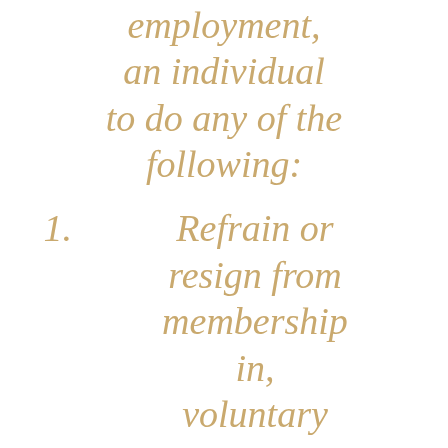employment, an individual to do any of the following:
1.   Refrain or resign from membership in, voluntary